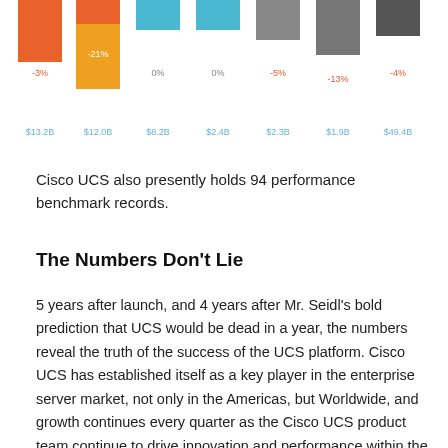[Figure (bar-chart): Server market revenue by vendor]
Cisco UCS also presently holds 94 performance benchmark records.
The Numbers Don't Lie
5 years after launch, and 4 years after Mr. Seidl's bold prediction that UCS would be dead in a year, the numbers reveal the truth of the success of the UCS platform. Cisco UCS has established itself as a key player in the enterprise server market, not only in the Americas, but Worldwide, and growth continues every quarter as the Cisco UCS product team continue to drive innovation and performance within the platform.